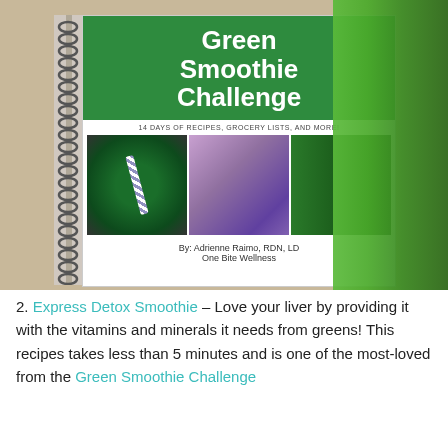[Figure (photo): Photo of a spiral-bound book titled 'Green Smoothie Challenge: 14 Days of Recipes, Grocery Lists, and More!' by Adrienne Raimo, RDN, LD of One Bite Wellness, with food photos on the cover, displayed next to a green smoothie bottle.]
2. Express Detox Smoothie – Love your liver by providing it with the vitamins and minerals it needs from greens! This recipes takes less than 5 minutes and is one of the most-loved from the Green Smoothie Challenge Book.